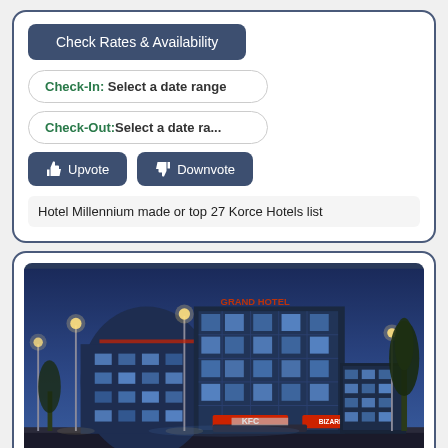[Figure (screenshot): Hotel booking widget with Check Rates & Availability button, Check-In date field, Check-Out date field, Upvote and Downvote buttons, and a note about Hotel Millennium top 27 Korce Hotels list]
Hotel Millennium made or top 27 Korce Hotels list
[Figure (photo): Night photograph of a modern hotel building with curved glass facade, illuminated with blue/purple ambient lighting, red signage including KFC and BIZARRE brand names, street lights, and trees]